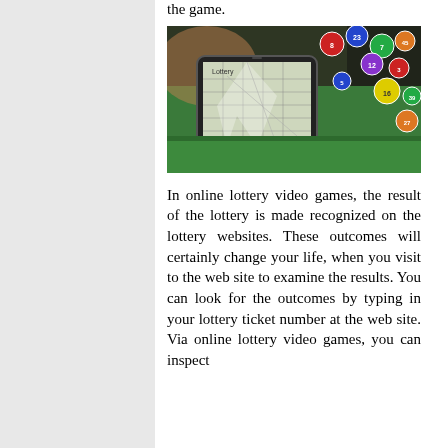the game.
[Figure (photo): A tablet displaying a bingo/lottery card with colorful lottery balls exploding out of the screen on a green surface background.]
In online lottery video games, the result of the lottery is made recognized on the lottery websites. These outcomes will certainly change your life, when you visit to the web site to examine the results. You can look for the outcomes by typing in your lottery ticket number at the web site. Via online lottery video games, you can inspect